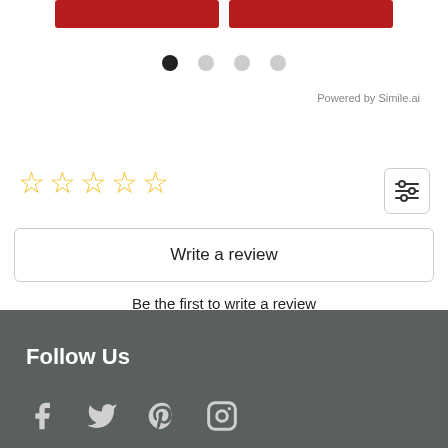[Figure (other): Two red rectangular buttons side by side at the top of the page]
[Figure (other): Carousel navigation dots: one filled black, three light gray]
Powered by Simile.ai
[Figure (other): Five empty star rating icons in gold/yellow outline]
[Figure (other): Filter/settings icon button with three horizontal sliders]
Write a review
Be the first to write a review
Follow Us
[Figure (other): Social media icons: Facebook, Twitter, Pinterest, Instagram]